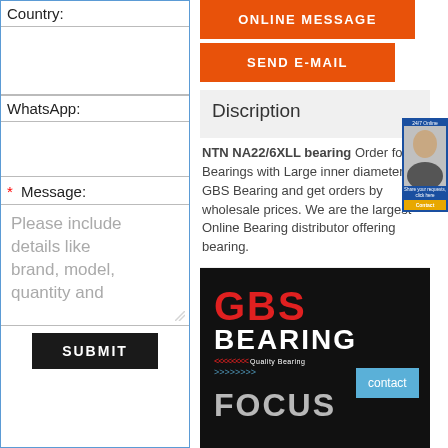Country:
WhatsApp:
* Message:
Please include details like brand, model, quantity and
SUBMIT
ONLINE MESSAGE
SEND E-MAIL
Discription
NTN NA22/6XLL bearing Order for Bearings with Large inner diameter by GBS Bearing and get orders by wholesale prices. We are the largest Online Bearing distributor offering bearing.
Details
[Figure (logo): GBS Bearing logo with red GBS text, white BEARING text, quality bearing tagline, and FOCUS text at bottom on dark background]